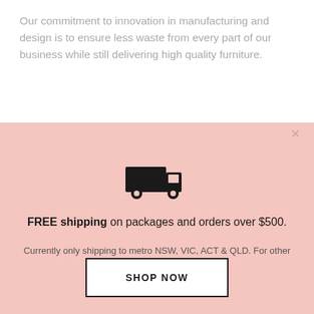Our commitment to innovation in manufacturing and design is to ensure less waste from every part of our business while still delivering high quality furniture.
Easy Assembly
Our products come flat packed, with all
[Figure (illustration): Delivery truck icon in dark color on pink background]
FREE shipping on packages and orders over $500.
Currently only shipping to metro NSW, VIC, ACT & QLD. For other areas please contact us.
SHOP NOW